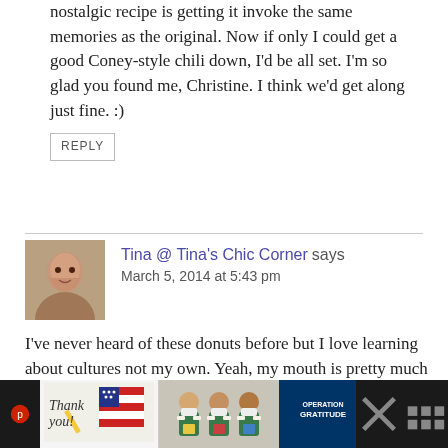nostalgic recipe is getting it invoke the same memories as the original. Now if only I could get a good Coney-style chili down, I'd be all set. I'm so glad you found me, Christine. I think we'd get along just fine. :)
REPLY
Tina @ Tina's Chic Corner says
March 5, 2014 at 5:43 pm
I've never heard of these donuts before but I love learning about cultures not my own. Yeah, my mouth is pretty much salavating at these gorgeous donuts. I wish I had one right
[Figure (photo): Advertisement banner at bottom: thank you image on left, photo of medical workers in center, Operation Gratitude logo on right, with social media icons on far left and right]